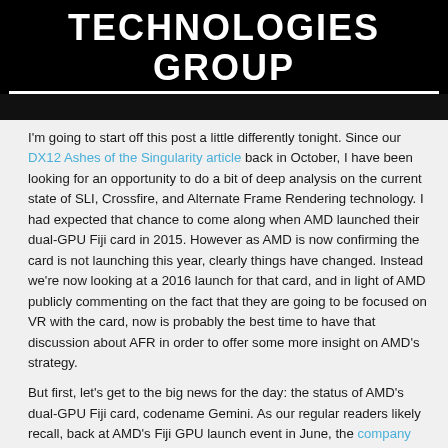TECHNOLOGIES GROUP
I'm going to start off this post a little differently tonight. Since our DX12 Ashes of the Singularity article back in October, I have been looking for an opportunity to do a bit of deep analysis on the current state of SLI, Crossfire, and Alternate Frame Rendering technology. I had expected that chance to come along when AMD launched their dual-GPU Fiji card in 2015. However as AMD is now confirming the card is not launching this year, clearly things have changed. Instead we're now looking at a 2016 launch for that card, and in light of AMD publicly commenting on the fact that they are going to be focused on VR with the card, now is probably the best time to have that discussion about AFR in order to offer some more insight on AMD's strategy.
But first, let's get to the big news for the day: the status of AMD's dual-GPU Fiji card, codename Gemini. As our regular readers likely recall, back at AMD's Fiji GPU launch event in June, the company